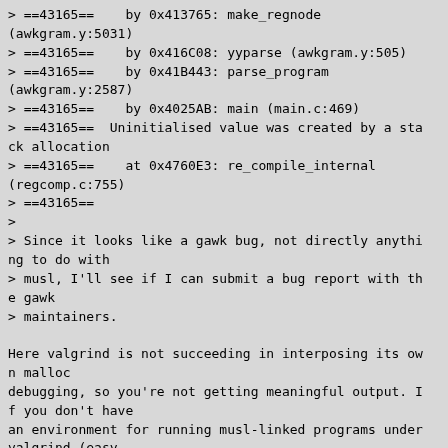> ==43165==    by 0x413765: make_regnode (awkgram.y:5031)
> ==43165==    by 0x416C08: yyparse (awkgram.y:505)
> ==43165==    by 0x41B443: parse_program (awkgram.y:2587)
> ==43165==    by 0x4025AB: main (main.c:469)
> ==43165==  Uninitialised value was created by a stack allocation
> ==43165==    at 0x4760E3: re_compile_internal (regcomp.c:755)
> ==43165==
>
> Since it looks like a gawk bug, not directly anything to do with
> musl, I'll see if I can submit a bug report with the gawk
> maintainers.

Here valgrind is not succeeding in interposing its own malloc
debugging, so you're not getting meaningful output. If you don't have
an environment for running musl-linked programs under valgrind (easy
if you have a musl-based distro, but if not it probably needs some
patches for whatever valgrind is getting wrong), see what happens if
you build the same version of gawk against glibc and run it under